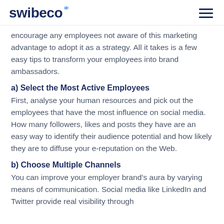swibeco
encourage any employees not aware of this marketing advantage to adopt it as a strategy. All it takes is a few easy tips to transform your employees into brand ambassadors.
a) Select the Most Active Employees
First, analyse your human resources and pick out the employees that have the most influence on social media. How many followers, likes and posts they have are an easy way to identify their audience potential and how likely they are to diffuse your e-reputation on the Web.
b) Choose Multiple Channels
You can improve your employer brand's aura by varying means of communication. Social media like LinkedIn and Twitter provide real visibility through